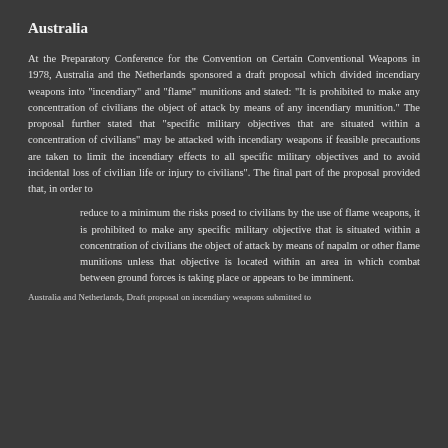Australia
At the Preparatory Conference for the Convention on Certain Conventional Weapons in 1978, Australia and the Netherlands sponsored a draft proposal which divided incendiary weapons into "incendiary" and "flame" munitions and stated: "It is prohibited to make any concentration of civilians the object of attack by means of any incendiary munition." The proposal further stated that "specific military objectives that are situated within a concentration of civilians" may be attacked with incendiary weapons if feasible precautions are taken to limit the incendiary effects to all specific military objectives and to avoid incidental loss of civilian life or injury to civilians". The final part of the proposal provided that, in order to
reduce to a minimum the risks posed to civilians by the use of flame weapons, it is prohibited to make any specific military objective that is situated within a concentration of civilians the object of attack by means of napalm or other flame munitions unless that objective is located within an area in which combat between ground forces is taking place or appears to be imminent.
Australia and Netherlands, Draft proposal on incendiary weapons submitted to